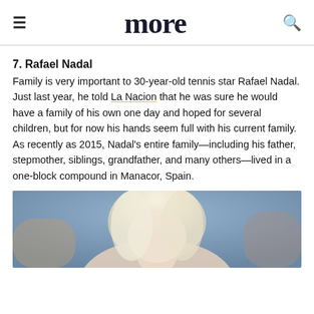more
7. Rafael Nadal
Family is very important to 30-year-old tennis star Rafael Nadal. Just last year, he told La Nacion that he was sure he would have a family of his own one day and hoped for several children, but for now his hands seem full with his current family. As recently as 2015, Nadal’s entire family—including his father, stepmother, siblings, grandfather, and many others—lived in a one-block compound in Manacor, Spain.
[Figure (photo): Blurred photo of a blonde woman, partially visible from shoulders up, with a blurred background of blues and browns.]